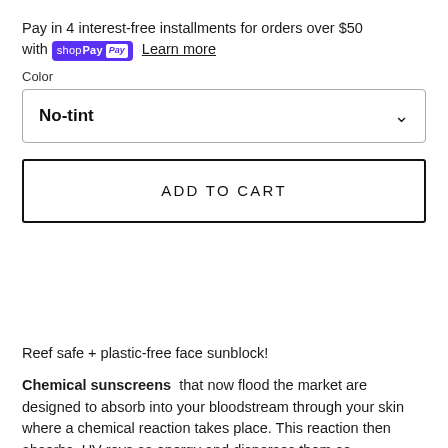Pay in 4 interest-free installments for orders over $50 with shop Pay  Learn more
Color
No-tint
ADD TO CART
Reef safe + plastic-free face sunblock!
Chemical sunscreens  that now flood the market are designed to absorb into your bloodstream through your skin where a chemical reaction takes place. This reaction then absorbs  UV rays as energy and disperses them as